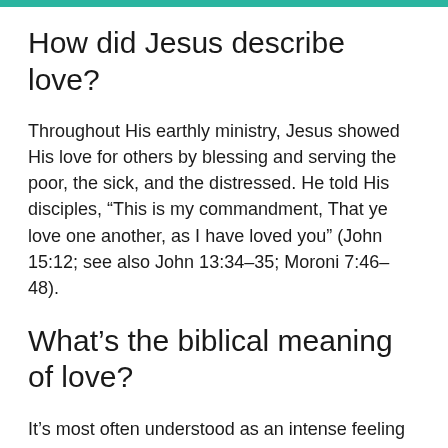How did Jesus describe love?
Throughout His earthly ministry, Jesus showed His love for others by blessing and serving the poor, the sick, and the distressed. He told His disciples, “This is my commandment, That ye love one another, as I have loved you” (John 15:12; see also John 13:34–35; Moroni 7:46–48).
What’s the biblical meaning of love?
It’s most often understood as an intense feeling of deep affection. Biblically, love has